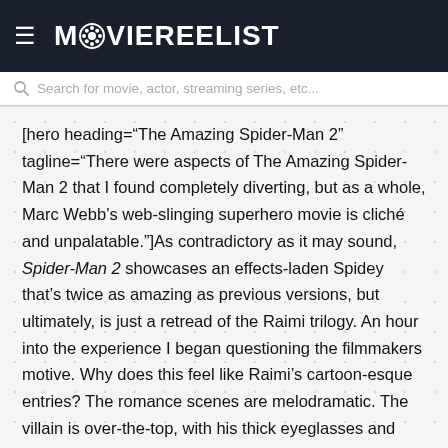MOVIEREELIST
Search for movie, actor, streaming series, etc...
[hero heading="The Amazing Spider-Man 2" tagline="There were aspects of The Amazing Spider-Man 2 that I found completely diverting, but as a whole, Marc Webb’s web-slinging superhero movie is cliché and unpalatable."]As contradictory as it may sound, Spider-Man 2 showcases an effects-laden Spidey that’s twice as amazing as previous versions, but ultimately, is just a retread of the Raimi trilogy. An hour into the experience I began questioning the filmmakers motive. Why does this feel like Raimi’s cartoon-esque entries? The romance scenes are melodramatic. The villain is over-the-top, with his thick eyeglasses and pocket protector; like something out of an Revenge of the Nerds movie. The action sequences are exceedingly shaky-cam and close-up. But I was having a good time.